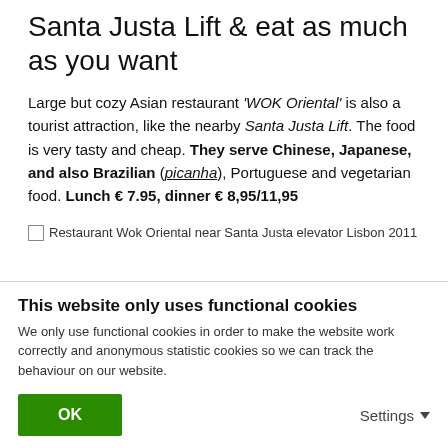Santa Justa Lift & eat as much as you want
Large but cozy Asian restaurant 'WOK Oriental' is also a tourist attraction, like the nearby Santa Justa Lift. The food is very tasty and cheap. They serve Chinese, Japanese, and also Brazilian (picanha), Portuguese and vegetarian food. Lunch € 7.95, dinner € 8,95/11,95
[Figure (photo): Restaurant Wok Oriental near Santa Justa elevator Lisbon 2011]
Restaurant Wok Oriental near Santa Justa elevator Lisbon 2011
This website only uses functional cookies
We only use functional cookies in order to make the website work correctly and anonymous statistic cookies so we can track the behaviour on our website.